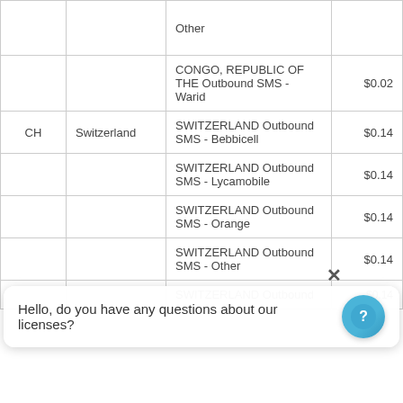| Code | Country | Description | Price |
| --- | --- | --- | --- |
|  |  | Other |  |
|  |  | CONGO, REPUBLIC OF THE Outbound SMS - Warid | $0.02 |
| CH | Switzerland | SWITZERLAND Outbound SMS - Bebbicell | $0.14 |
|  |  | SWITZERLAND Outbound SMS - Lycamobile | $0.14 |
|  |  | SWITZERLAND Outbound SMS - Orange | $0.14 |
|  |  | SWITZERLAND Outbound SMS - Other | $0.14 |
|  |  | SWITZERLAND Outbound | $0.14 |
Hello, do you have any questions about our licenses?